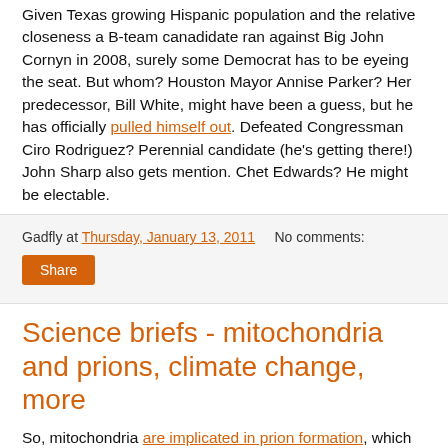Given Texas growing Hispanic population and the relative closeness a B-team canadidate ran against Big John Cornyn in 2008, surely some Democrat has to be eyeing the seat. But whom? Houston Mayor Annise Parker? Her predecessor, Bill White, might have been a guess, but he has officially pulled himself out. Defeated Congressman Ciro Rodriguez? Perennial candidate (he's getting there!) John Sharp also gets mention. Chet Edwards? He might be electable.
Gadfly at Thursday, January 13, 2011   No comments:
Share
Science briefs - mitochondria and prions, climate change, more
So, mitochondria are implicated in prion formation, which then may have connections to the aging process. This sounds like news that's going to unfold for years to come, no pun intended.